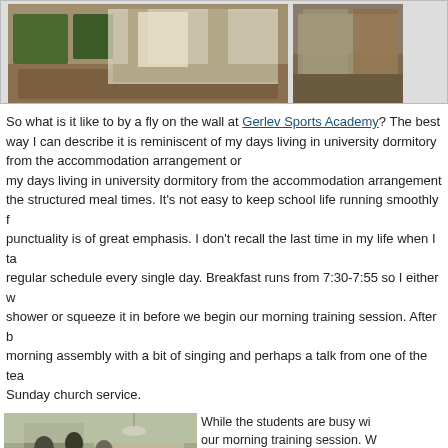[Figure (photo): Top row of two photos: left shows a dormitory room with a bed and green furniture; right shows another room view]
So what is it like to by a fly on the wall at Gerlev Sports Academy? The best way I can describe it is reminiscent of my days living in university dormitory from the accommodation arrangement to the structured meal times. It's not easy to keep school life running smoothly for 100 students and punctuality is of great emphasis. I don't recall the last time in my life when I tabled such a regular schedule every single day. Breakfast runs from 7:30-7:55 so I either wake up early for a shower or squeeze it in before we begin our morning training session. After breakfast we have a morning assembly with a bit of singing and perhaps a talk from one of the teachers, akin to a Sunday church service.
[Figure (photo): Photo of students in a common room/lounge area with tables and chairs]
While the students are busy with their morning classes we have our morning training session. What we do during the program that coach Sooty puts together for us varies according what else we have on the schedule for the evening.
There are plenty of facilities at the school to cater for the program they offer. There is a swimming pool, dance studio, gymnastics room, gymnasium for basket ball, running track, and parkour area.
dormitories and lounge/common area. We often come across groups of students